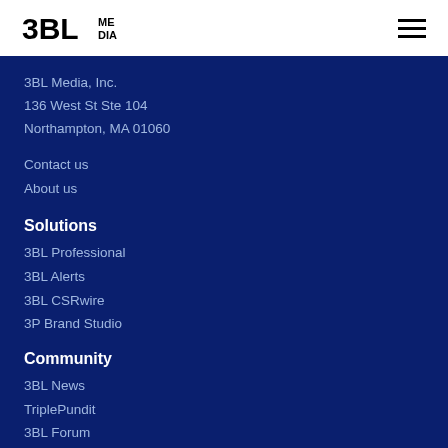3BL MEDIA
3BL Media, Inc.
136 West St Ste 104
Northampton, MA 01060
Contact us
About us
Solutions
3BL Professional
3BL Alerts
3BL CSRwire
3P Brand Studio
Community
3BL News
TriplePundit
3BL Forum